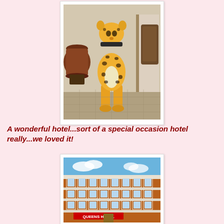[Figure (photo): A ceramic/porcelain leopard or cheetah figurine standing upright, yellow with black spots, wearing a collar, photographed indoors near a large brown pot and leather furniture on a patterned carpet floor.]
A wonderful hotel...sort of a special occasion hotel really...we loved it!
[Figure (photo): Exterior facade of Queens Hotel, a large red brick Victorian building with white window surrounds, photographed from below against a partly cloudy blue sky. A red sign reading 'QUEENS HOTEL' is visible on the building.]